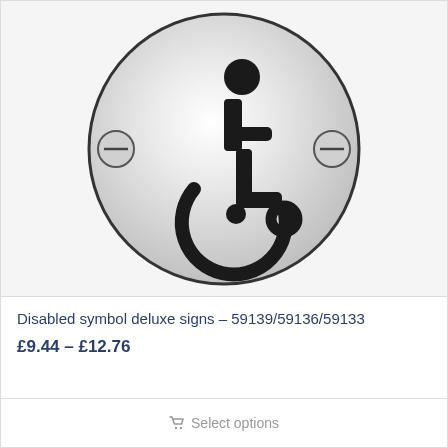[Figure (photo): A circular metal disabled/wheelchair symbol sign with a silver/chrome finish. The sign shows the international symbol of access (wheelchair user silhouette in black). On the left and right sides of the circle are two screw/bolt fixtures. The disc has a slight gradient giving a metallic appearance.]
Disabled symbol deluxe signs – 59139/59136/59133
£9.44 – £12.76
Select options